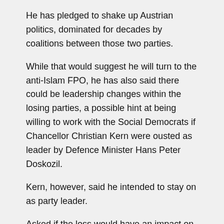He has pledged to shake up Austrian politics, dominated for decades by coalitions between those two parties.
While that would suggest he will turn to the anti-Islam FPO, he has also said there could be leadership changes within the losing parties, a possible hint at being willing to work with the Social Democrats if Chancellor Christian Kern were ousted as leader by Defence Minister Hans Peter Doskozil.
Kern, however, said he intended to stay on as party leader.
Asked if the loss would have an impact on his political career, Kern said: ‘No, I have said I will stay in politics for 10 years and there are nine years to go.’
Austria’s hard-right Freedom Party has a shot at sharing power after elections on Sunday, having narrowly lost out in a presidential vote last year.